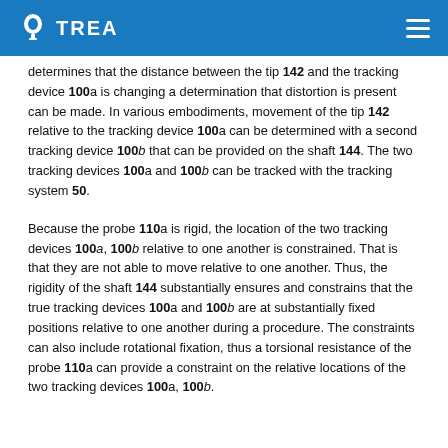TREA
determines that the distance between the tip 142 and the tracking device 100a is changing a determination that distortion is present can be made. In various embodiments, movement of the tip 142 relative to the tracking device 100a can be determined with a second tracking device 100b that can be provided on the shaft 144. The two tracking devices 100a and 100b can be tracked with the tracking system 50.
Because the probe 110a is rigid, the location of the two tracking devices 100a, 100b relative to one another is constrained. That is that they are not able to move relative to one another. Thus, the rigidity of the shaft 144 substantially ensures and constrains that the true tracking devices 100a and 100b are at substantially fixed positions relative to one another during a procedure. The constraints can also include rotational fixation, thus a torsional resistance of the probe 110a can provide a constraint on the relative locations of the two tracking devices 100a, 100b.